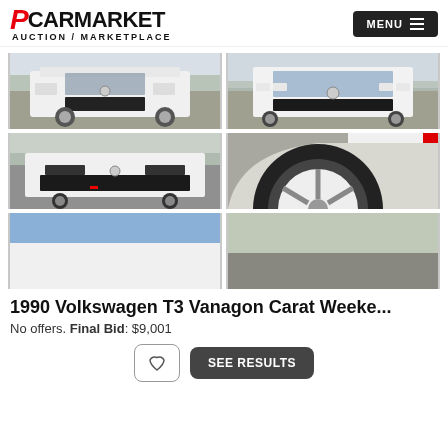PCARMARKET AUCTION / MARKETPLACE
[Figure (photo): Four photos of a white 1990 Volkswagen T3 Vanagon Carat Weekender van, showing front 3/4 view, front view, low front view, and close-up of wheel/tire. Partially visible fifth and sixth photos at bottom.]
1990 Volkswagen T3 Vanagon Carat Weeke...
No offers. Final Bid: $9,001